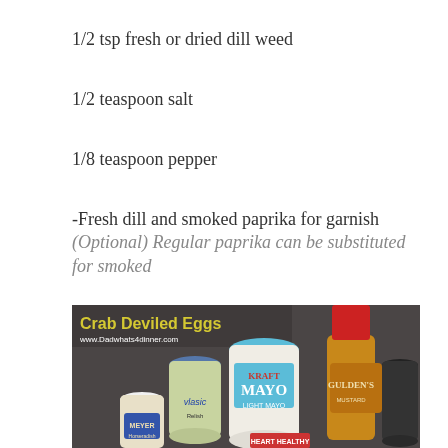1/2 tsp fresh or dried dill weed
1/2 teaspoon salt
1/8 teaspoon pepper
-Fresh dill and smoked paprika for garnish (Optional) Regular paprika can be substituted for smoked
[Figure (photo): Photo showing several condiment jars and bottles on a dark surface including Kraft Light Mayo, Vlasic relish, Gulden's mustard, Meyer Horseradish, and other items. Text overlay reads 'Crab Deviled Eggs www.Dadwhats4dinner.com']